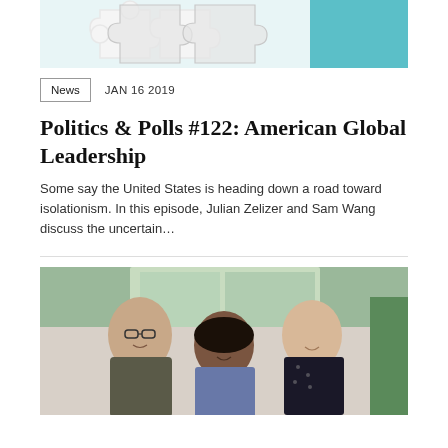[Figure (photo): Top portion of a decorative puzzle piece image with light teal background]
News   JAN 16 2019
Politics & Polls #122: American Global Leadership
Some say the United States is heading down a road toward isolationism. In this episode, Julian Zelizer and Sam Wang discuss the uncertain...
[Figure (photo): Three people standing together smiling in a bright room — a man with glasses on the left, a woman in the center, and another person on the right wearing a dark patterned shirt]